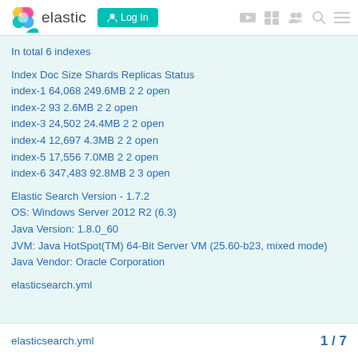elastic  Log In
In total 6 indexes

Index Doc Size Shards Replicas Status
index-1 64,068 249.6MB 2 2 open
index-2 93 2.6MB 2 2 open
index-3 24,502 24.4MB 2 2 open
index-4 12,697 4.3MB 2 2 open
index-5 17,556 7.0MB 2 2 open
index-6 347,483 92.8MB 2 3 open

Elastic Search Version - 1.7.2
OS: Windows Server 2012 R2 (6.3)
Java Version: 1.8.0_60
JVM: Java HotSpot(TM) 64-Bit Server VM (25.60-b23, mixed mode)
Java Vendor: Oracle Corporation

elasticsearch.yml
1 / 7